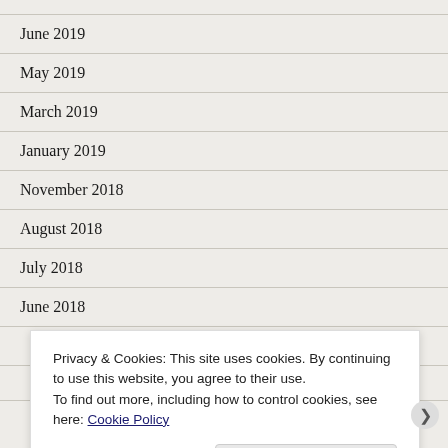June 2019
May 2019
March 2019
January 2019
November 2018
August 2018
July 2018
June 2018
Privacy & Cookies: This site uses cookies. By continuing to use this website, you agree to their use.
To find out more, including how to control cookies, see here: Cookie Policy
Close and accept